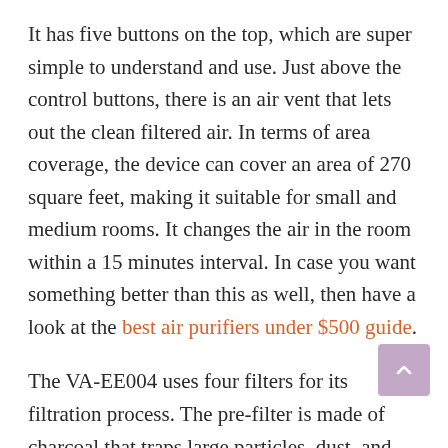It has five buttons on the top, which are super simple to understand and use. Just above the control buttons, there is an air vent that lets out the clean filtered air. In terms of area coverage, the device can cover an area of 270 square feet, making it suitable for small and medium rooms. It changes the air in the room within a 15 minutes interval. In case you want something better than this as well, then have a look at the best air purifiers under $500 guide.
The VA-EE004 uses four filters for its filtration process. The pre-filter is made of charcoal that traps large particles, dust, and smoke. The activated charcoal filter captures VOCs and lingering odors.